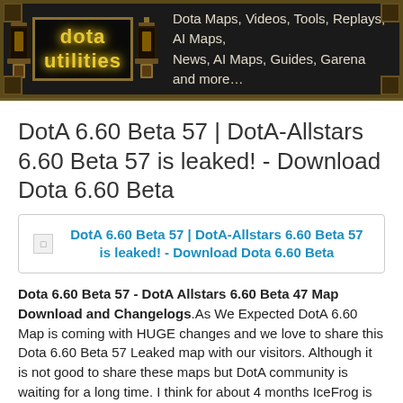dota utilities — Dota Maps, Videos, Tools, Replays, AI Maps, News, AI Maps, Guides, Garena and more…
DotA 6.60 Beta 57 | DotA-Allstars 6.60 Beta 57 is leaked! - Download Dota 6.60 Beta
[Figure (screenshot): Link box with broken image thumbnail and bold blue hyperlink text: DotA 6.60 Beta 57 | DotA-Allstars 6.60 Beta 57 is leaked! - Download Dota 6.60 Beta]
Dota 6.60 Beta 57 - DotA Allstars 6.60 Beta 47 Map Download and Changelogs.As We Expected DotA 6.60 Map is coming with HUGE changes and we love to share this Dota 6.60 Beta 57 Leaked map with our visitors. Although it is not good to share these maps but DotA community is waiting for a long time. I think for about 4 months IceFrog is working on this map and Dota 6.60 is and